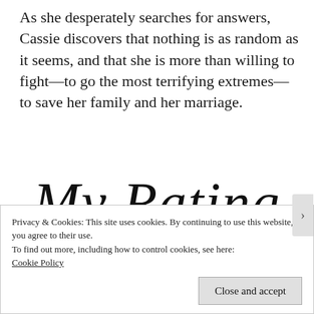As she desperately searches for answers, Cassie discovers that nothing is as random as it seems, and that she is more than willing to fight—to go the most terrifying extremes—to save her family and her marriage.
[Figure (illustration): Decorative calligraphy script reading 'My Rating']
Privacy & Cookies: This site uses cookies. By continuing to use this website, you agree to their use.
To find out more, including how to control cookies, see here: Cookie Policy